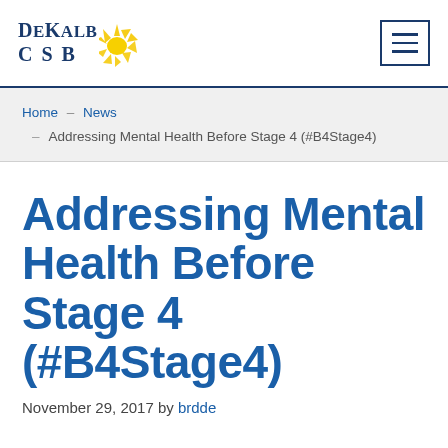DeKalb CSB [logo]
Home - News - Addressing Mental Health Before Stage 4 (#B4Stage4)
Addressing Mental Health Before Stage 4 (#B4Stage4)
November 29, 2017 by brdde